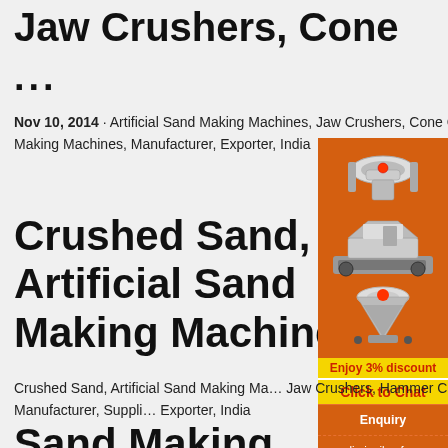Jaw Crushers, Cone
...
Nov 10, 2014 · Artificial Sand Making Machines, Jaw Crushers, Cone Crushers, Special VSI Crusher, Plaster Sand Making Machines, Manufacturer, Exporter, India
Crushed Sand, Artificial Sand Making Machine
[Figure (infographic): Orange advertisement panel with machinery images (crushing/grinding machines), a yellow 'Enjoy 3% discount' bar, a yellow 'Click to Chat' button, an Enquiry section, and a Sina.com email address: limingjlmofen@sina.com]
Crushed Sand, Artificial Sand Making Ma... Jaw Crushers, Hammer Crushers, Vibratory S... Sand Making Machines, Manufacturer, Suppli... Exporter, India
Sand Making